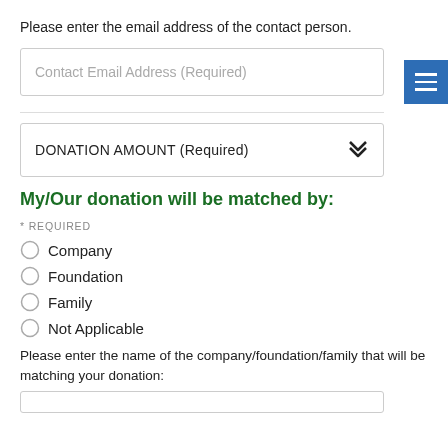Please enter the email address of the contact person.
Contact Email Address (Required)
DONATION AMOUNT (Required)
My/Our donation will be matched by:
* REQUIRED
Company
Foundation
Family
Not Applicable
Please enter the name of the company/foundation/family that will be matching your donation: